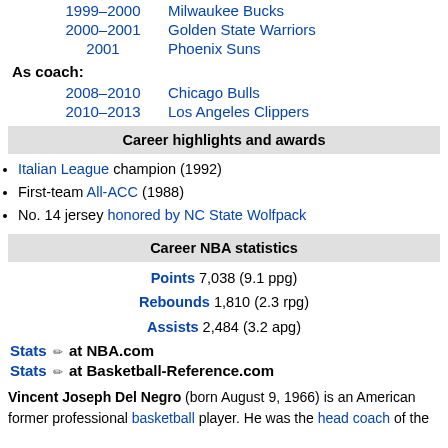1999–2000   Milwaukee Bucks
2000–2001   Golden State Warriors
2001   Phoenix Suns
As coach:
2008–2010   Chicago Bulls
2010–2013   Los Angeles Clippers
Career highlights and awards
Italian League champion (1992)
First-team All-ACC (1988)
No. 14 jersey honored by NC State Wolfpack
Career NBA statistics
Points 7,038 (9.1 ppg)
Rebounds 1,810 (2.3 rpg)
Assists 2,484 (3.2 apg)
Stats ✏ at NBA.com
Stats ✏ at Basketball-Reference.com
Vincent Joseph Del Negro (born August 9, 1966) is an American former professional basketball player. He was the head coach of the National Basketball Association's Chicago Bulls from 2008...